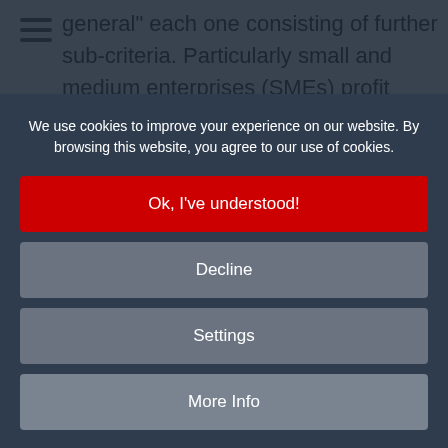general" each one consisting of further sub-criteria. Particularly small and medium enterprises (SMEs) profit from the neutral ratings, since many may not be familiar with the implementation of global development projects. The marketplace helps them with getting started easily and at low risk.
Dr. Joerg Stimmer, MD of pliXos, explains: "The positive
We use cookies to improve your experience on our website. By browsing this website, you agree to our use of cookies.
Ok, I've understood!
Decline
Settings
More Info